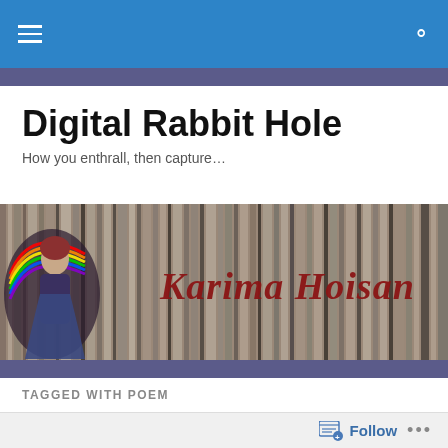Digital Rabbit Hole — navigation bar with hamburger menu and search icon
Digital Rabbit Hole
How you enthrall, then capture…
[Figure (illustration): Banner image showing vinyl records with 'Karima Hoisan' text overlaid in dark red, and a colorful fantasy figure on the left side]
TAGGED WITH POEM
Black Beauties
Follow  •••